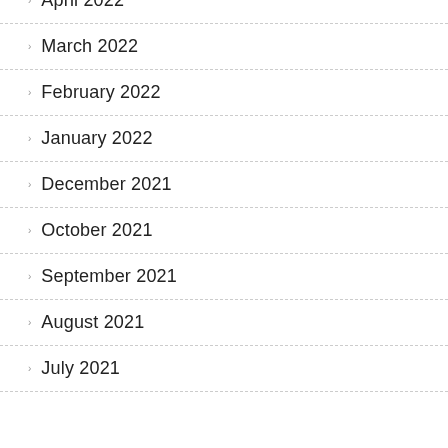April 2022
March 2022
February 2022
January 2022
December 2021
October 2021
September 2021
August 2021
July 2021